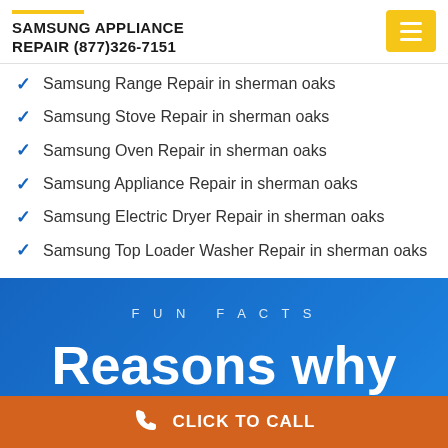SAMSUNG APPLIANCE REPAIR (877)326-7151
Samsung Range Repair in sherman oaks
Samsung Stove Repair in sherman oaks
Samsung Oven Repair in sherman oaks
Samsung Appliance Repair in sherman oaks
Samsung Electric Dryer Repair in sherman oaks
Samsung Top Loader Washer Repair in sherman oaks
FUN FACTS
Reasons why hire us
CLICK TO CALL